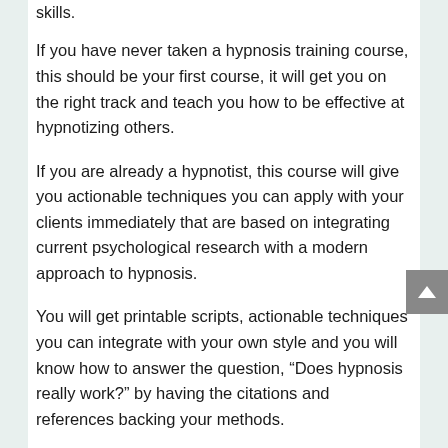skills.
If you have never taken a hypnosis training course, this should be your first course, it will get you on the right track and teach you how to be effective at hypnotizing others.
If you are already a hypnotist, this course will give you actionable techniques you can apply with your clients immediately that are based on integrating current psychological research with a modern approach to hypnosis.
You will get printable scripts, actionable techniques you can integrate with your own style and you will know how to answer the question, “Does hypnosis really work?” by having the citations and references backing your methods.
CERTIFICATE OF